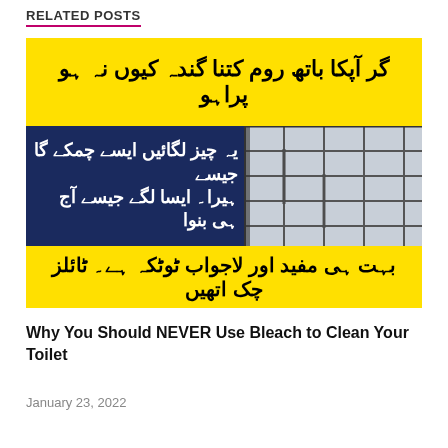RELATED POSTS
[Figure (photo): Urdu-language promotional image with yellow top banner, dark blue middle section with Urdu text on left and a photo of dirty bathroom tiles on right, and yellow bottom banner with more Urdu text]
Why You Should NEVER Use Bleach to Clean Your Toilet
January 23, 2022